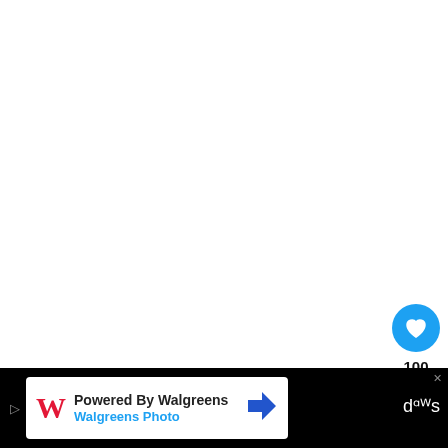[Figure (screenshot): White blank/empty content area taking up most of the page, representing a webpage screenshot]
[Figure (screenshot): Blue circular heart/like button with white heart icon, count of 100, and white circular share button with share icon on right sidebar]
[Figure (screenshot): WHAT'S NEXT panel with thumbnail image and text 'Can You Use A Fire TV Stick...']
If you don’t have a home internet co… but still want to stream content to your smart
[Figure (screenshot): Bottom advertisement bar: Powered By Walgreens / Walgreens Photo ad with navigation arrow icon, on black background]
dᵅᵂs